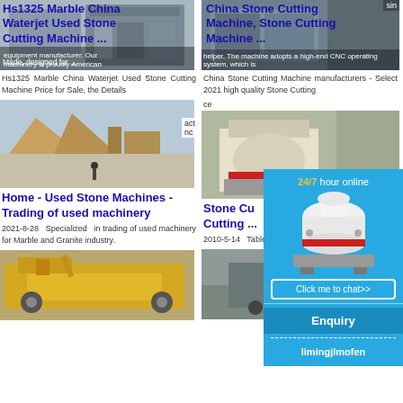[Figure (photo): Top-left product image: stone cutting/waterjet machine]
Hs1325 Marble China Waterjet Used Stone Cutting Machine ...
Hs1325 Marble China Waterjet Used Stone Cutting Machine Price for Sale, the Details
[Figure (photo): Middle-left image: quarry/stone crushing plant with worker in foreground]
act
nc
Home - Used Stone Machines - Trading of used machinery
2021-8-28  Specialized in trading of used machinery for Marble and Granite industry.
[Figure (photo): Bottom-left image: yellow construction/mining machine]
[Figure (photo): Top-right product image: industrial machine in warehouse]
sin
helper. The machine adopts a high-end CNC operating system, which is
China Stone Cutting Machine, Stone Cutting Machine ...
China Stone Cutting Machine manufacturers - Select 2021 high quality Stone Cutting
ce
[Figure (photo): Middle-right image: industrial cone crusher / stone cutting machine]
Stone Cutting Machine, Stone Cutting ...
2010-5-14  Table S... Stone Cut...
[Figure (infographic): Chat widget overlay: 24/7 hour online, cone crusher image, Click me to chat>>, Enquiry, limingjlmofen]
[Figure (photo): Bottom-right image: outdoor stone/quarry machinery]